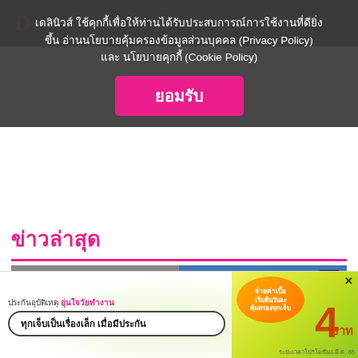เดลินิวส์ ใช้คุกกี้เพื่อให้ท่านได้รับประสบการณ์การใช้งานที่ดียิ่งขึ้น อ่านนโยบายคุ้มครองข้อมูลส่วนบุคคล (Privacy Policy) และ นโยบายคุกกี้ (Cookie Policy)
ยอมรับ
ข่าวล่าสุด
[Figure (photo): News photo collage: left side shows a scene with a person wearing a mask in an indoor setting; right side shows a police officer speaking at a press conference in front of a blue background with a 'D' logo badge.]
[Figure (other): Advertisement banner: 'ประกันอุบัติเหตุ อุ่นใจวัยทำงาน ทุกเจ็บเป็นเรื่องเล็ก เมื่อมีประกัน จ่ายค่าเบี้ย เริ่มต้นวันละ 4 บาท คุ้มครองทุกเจ็บ ระยะเวลาโปรโมชัน1 มี.ค. 65']